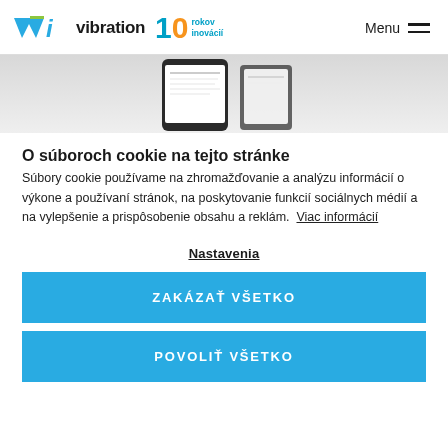vibration 10 rokov inovácií | Menu
[Figure (screenshot): Partial screenshot of a smartphone showing a webpage]
O súboroch cookie na tejto stránke
Súbory cookie používame na zhromažďovanie a analýzu informácií o výkone a používaní stránok, na poskytovanie funkcií sociálnych médií a na vylepšenie a prispôsobenie obsahu a reklám. Viac informácií
Nastavenia
ZAKÁZAŤ VŠETKO
POVOLIŤ VŠETKO